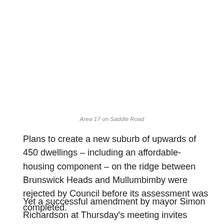Area 17 on Saddle Road
Plans to create a new suburb of upwards of 450 dwellings – including an affordable-housing component – on the ridge between Brunswick Heads and Mullumbimby were rejected by Council before its assessment was completed.
Yet a successful amendment by mayor Simon Richardson at Thursday's meeting invites 'individual site proposals from within